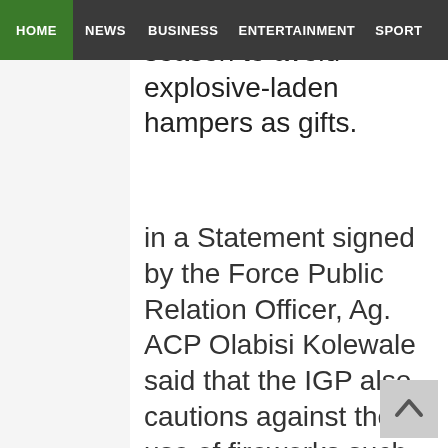HOME  NEWS  BUSINESS  ENTERTAINMENT  SPORT
friends during the season to avoid explosive-laden hampers as gifts.
in a Statement signed by the Force Public Relation Officer, Ag. ACP Olabisi Kolewale said that the IGP also cautions against the use of fireworks such as knockout, “bangers” and other explosives in the celebrations as they could cause distraction that may further heighten fear of insecurity.